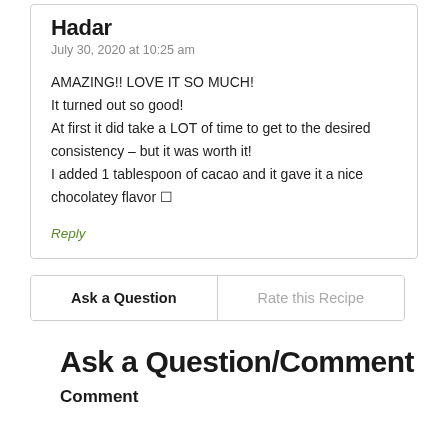Hadar
July 30, 2020 at 10:25 am
AMAZING!! LOVE IT SO MUCH!
It turned out so good!
At first it did take a LOT of time to get to the desired consistency – but it was worth it!
I added 1 tablespoon of cacao and it gave it a nice chocolatey flavor 🍫
Reply
Ask a Question	Rate this Recipe
Ask a Question/Comment
Comment